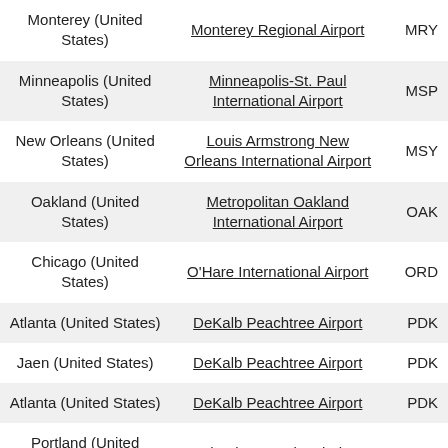| City | Airport | Code |
| --- | --- | --- |
| Monterey (United States) | Monterey Regional Airport | MRY |
| Minneapolis (United States) | Minneapolis-St. Paul International Airport | MSP |
| New Orleans (United States) | Louis Armstrong New Orleans International Airport | MSY |
| Oakland (United States) | Metropolitan Oakland International Airport | OAK |
| Chicago (United States) | O'Hare International Airport | ORD |
| Atlanta (United States) | DeKalb Peachtree Airport | PDK |
| Jaen (United States) | DeKalb Peachtree Airport | PDK |
| Atlanta (United States) | DeKalb Peachtree Airport | PDK |
| Portland (United States) | Portland International Airport | PDX |